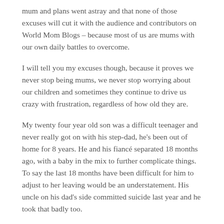mum and plans went astray and that none of those excuses will cut it with the audience and contributors on World Mom Blogs – because most of us are mums with our own daily battles to overcome.
I will tell you my excuses though, because it proves we never stop being mums, we never stop worrying about our children and sometimes they continue to drive us crazy with frustration, regardless of how old they are.
My twenty four year old son was a difficult teenager and never really got on with his step-dad, he's been out of home for 8 years. He and his fiancé separated 18 months ago, with a baby in the mix to further complicate things. To say the last 18 months have been difficult for him to adjust to her leaving would be an understatement. His uncle on his dad's side committed suicide last year and he took that badly too.
All of this drama in his life culminated in him getting